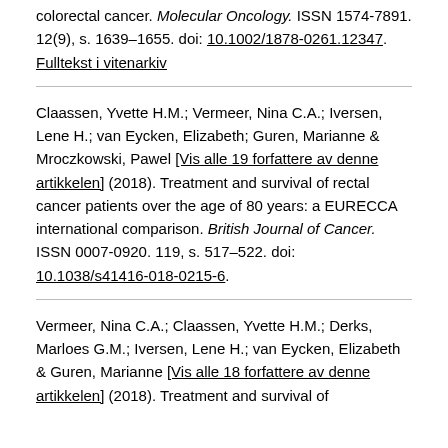colorectal cancer. Molecular Oncology. ISSN 1574-7891. 12(9), s. 1639–1655. doi: 10.1002/1878-0261.12347. Fulltekst i vitenarkiv
Claassen, Yvette H.M.; Vermeer, Nina C.A.; Iversen, Lene H.; van Eycken, Elizabeth; Guren, Marianne & Mroczkowski, Pawel [Vis alle 19 forfattere av denne artikkelen] (2018). Treatment and survival of rectal cancer patients over the age of 80 years: a EURECCA international comparison. British Journal of Cancer. ISSN 0007-0920. 119, s. 517–522. doi: 10.1038/s41416-018-0215-6.
Vermeer, Nina C.A.; Claassen, Yvette H.M.; Derks, Marloes G.M.; Iversen, Lene H.; van Eycken, Elizabeth & Guren, Marianne [Vis alle 18 forfattere av denne artikkelen] (2018). Treatment and survival of